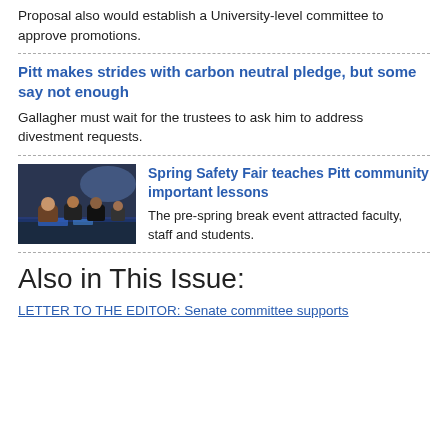Proposal also would establish a University-level committee to approve promotions.
Pitt makes strides with carbon neutral pledge, but some say not enough
Gallagher must wait for the trustees to ask him to address divestment requests.
[Figure (photo): Group of people gathered around a table at the Spring Safety Fair event]
Spring Safety Fair teaches Pitt community important lessons
The pre-spring break event attracted faculty, staff and students.
Also in This Issue:
LETTER TO THE EDITOR: Senate committee supports